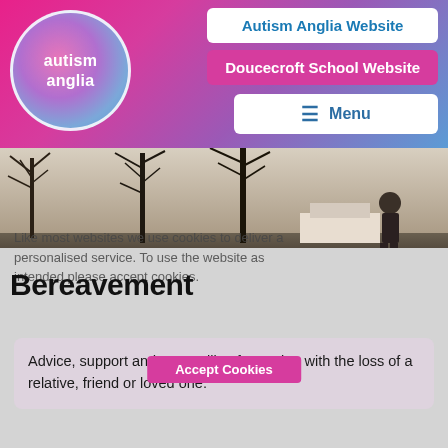[Figure (logo): Autism Anglia circular logo with white text on gradient purple/blue background]
Autism Anglia Website
Doucecroft School Website
Menu
[Figure (photo): Outdoor scene with bare trees and a figure in a winter landscape]
Like most websites we use cookies to deliver a personalised service. To use the website as intended please accept cookies.
Bereavement
Accept Cookies
Advice, support and counselling for coping with the loss of a relative, friend or loved one.